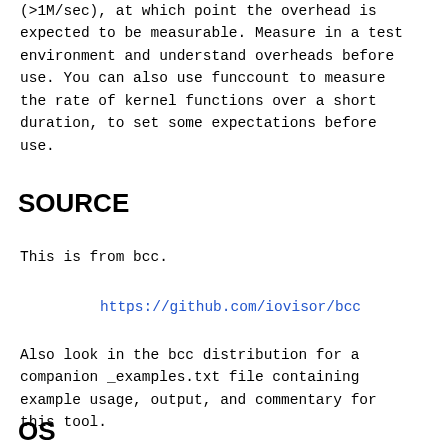(>1M/sec), at which point the overhead is expected to be measurable. Measure in a test environment and understand overheads before use. You can also use funccount to measure the rate of kernel functions over a short duration, to set some expectations before use.
SOURCE
This is from bcc.
https://github.com/iovisor/bcc
Also look in the bcc distribution for a companion _examples.txt file containing example usage, output, and commentary for this tool.
OS